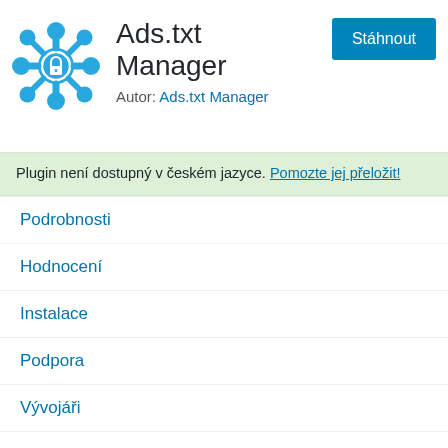[Figure (logo): Blue snowflake/hub icon with lock symbol in center, representing Ads.txt Manager plugin logo]
Ads.txt Manager
Autor: Ads.txt Manager
Stáhnout
Plugin není dostupný v českém jazyce. Pomozte jej přeložit!
Podrobnosti
Hodnocení
Instalace
Podpora
Vývojáři
Popis
Ads.txt Manager je forma správy ads.txt